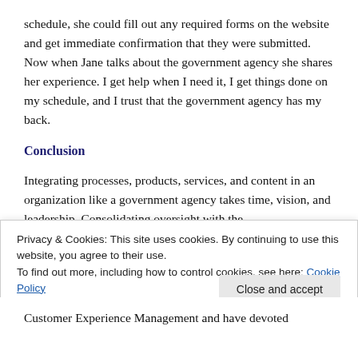schedule, she could fill out any required forms on the website and get immediate confirmation that they were submitted. Now when Jane talks about the government agency she shares her experience. I get help when I need it, I get things done on my schedule, and I trust that the government agency has my back.
Conclusion
Integrating processes, products, services, and content in an organization like a government agency takes time, vision, and leadership. Consolidating oversight with the
Privacy & Cookies: This site uses cookies. By continuing to use this website, you agree to their use.
To find out more, including how to control cookies, see here: Cookie Policy
Customer Experience Management and have devoted